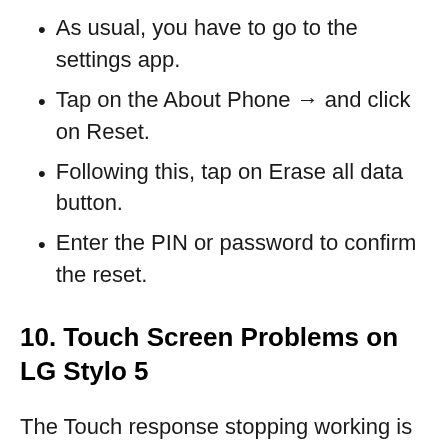As usual, you have to go to the settings app.
Tap on the About Phone → and click on Reset.
Following this, tap on Erase all data button.
Enter the PIN or password to confirm the reset.
10. Touch Screen Problems on LG Stylo 5
The Touch response stopping working is not a common problems in LG Stylo 5, and